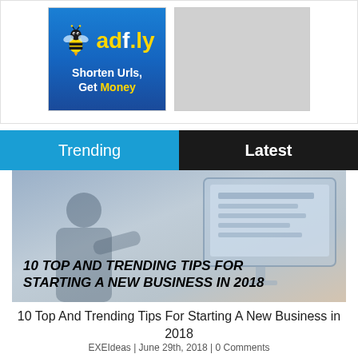[Figure (logo): Adf.ly advertisement banner with bee logo and text 'Shorten Urls, Get Money' on blue background]
[Figure (other): Grey placeholder advertisement box]
Trending
Latest
[Figure (photo): Person sitting at computer with article headline overlay: 10 TOP AND TRENDING TIPS FOR STARTING A NEW BUSINESS IN 2018]
10 Top And Trending Tips For Starting A New Business in 2018
EXEIdeas | June 29th, 2018 | 0 Comments